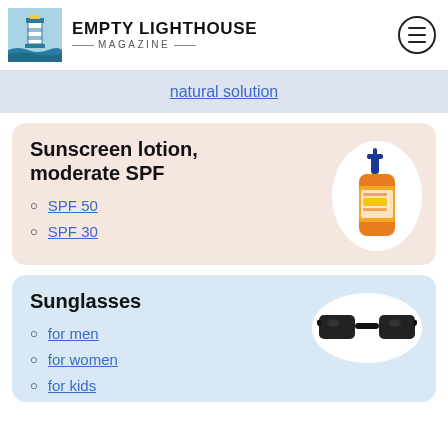EMPTY LIGHTHOUSE MAGAZINE
natural solution
Sunscreen lotion, moderate SPF
SPF 50
SPF 30
[Figure (photo): Orange sunscreen lotion bottle with blue pump]
Sunglasses
for men
for women
for kids
[Figure (photo): Black sunglasses]